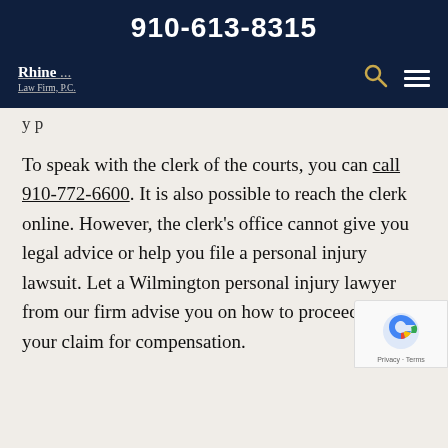910-613-8315
[Figure (logo): Rhine Law Firm, P.C. logo with navigation icons (search and hamburger menu) on dark navy background]
To speak with the clerk of the courts, you can call 910-772-6600. It is also possible to reach the clerk online. However, the clerk's office cannot give you legal advice or help you file a personal injury lawsuit. Let a Wilmington personal injury lawyer from our firm advise you on how to proceed with your claim for compensation.